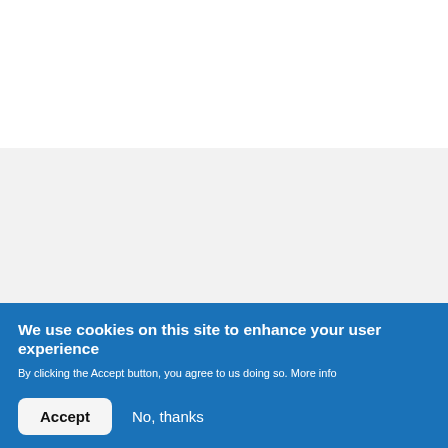[Figure (screenshot): White area at the top of the page, blank content area]
[Figure (screenshot): Light gray content area in the middle of the page, blank]
We use cookies on this site to enhance your user experience
By clicking the Accept button, you agree to us doing so. More info
Accept
No, thanks